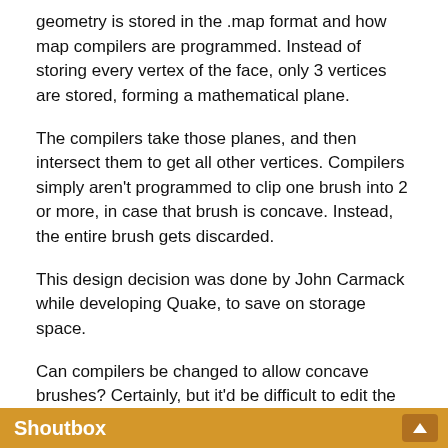geometry is stored in the .map format and how map compilers are programmed. Instead of storing every vertex of the face, only 3 vertices are stored, forming a mathematical plane.
The compilers take those planes, and then intersect them to get all other vertices. Compilers simply aren't programmed to clip one brush into 2 or more, in case that brush is concave. Instead, the entire brush gets discarded.
This design decision was done by John Carmack while developing Quake, to save on storage space.
Can compilers be changed to allow concave brushes? Certainly, but it'd be difficult to edit the source code of VHLT v34 compilers, considering how messy everything is there.
Categories · Tutorials · Goldsource Tutorials
Article Credits
Admer456 – Original author